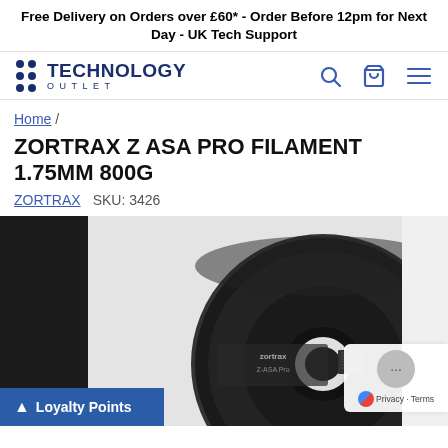Free Delivery on Orders over £60* - Order Before 12pm for Next Day - UK Tech Support
[Figure (logo): Technology Outlet logo with dot grid and navigation icons (search, cart, menu)]
Home /
ZORTRAX Z ASA PRO FILAMENT 1.75MM 800G
ZORTRAX   SKU: 3426
[Figure (photo): Black Zortrax Z-ASA Pro filament spool, dark circular reel with Z-ASA Pro label visible]